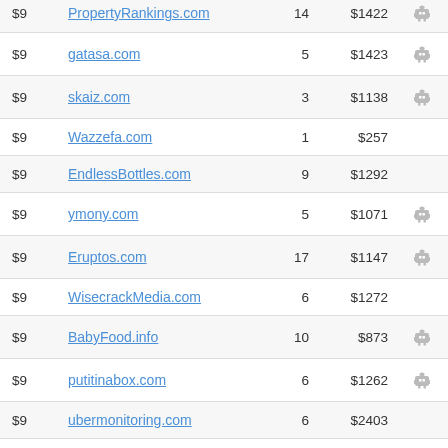| Price | Domain | Bids | Appraisal |  |
| --- | --- | --- | --- | --- |
| $9 | PropertyRankings.com | 14 | $1422 | robot |
| $9 | gatasa.com | 5 | $1423 | robot |
| $9 | skaiz.com | 3 | $1138 | robot |
| $9 | Wazzefa.com | 1 | $257 |  |
| $9 | EndlessBottles.com | 9 | $1292 |  |
| $9 | ymony.com | 5 | $1071 | robot |
| $9 | Eruptos.com | 17 | $1147 | robot |
| $9 | WisecrackMedia.com | 6 | $1272 |  |
| $9 | BabyFood.info | 10 | $873 | robot |
| $9 | putitinabox.com | 6 | $1262 | robot |
| $9 | ubermonitoring.com | 6 | $2403 |  |
| $9 | ChromeCrypto.com | 2 | $1581 |  |